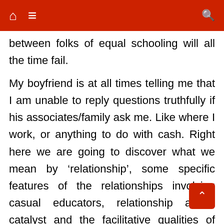between folks of equal schooling will all the time fail.
My boyfriend is at all times telling me that I am unable to reply questions truthfully if his associates/family ask me. Like where I work, or anything to do with cash. Right here we are going to discover what we mean by ‘relationship’, some specific features of the relationships involving casual educators, relationship as a catalyst and the facilitative qualities of relationship. Selecting a prison mattress and separation without end is just not precisely a honeymoon suite for cheaters or wives who search to solve problems with desperation and crime. You might